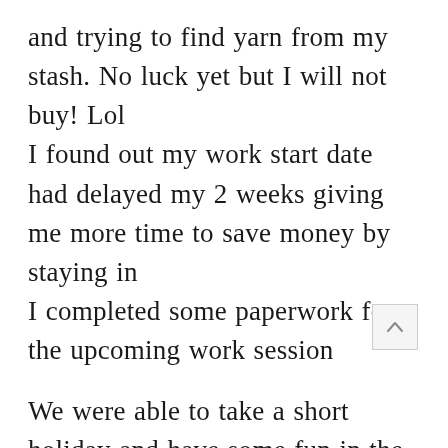and trying to find yarn from my stash. No luck yet but I will not buy! Lol
I found out my work start date had delayed my 2 weeks giving me more time to save money by staying in
I completed some paperwork for the upcoming work session

We were able to take a short holiday and have some fun in the sun. I have problems during winter due to an illness
We stayed in the city instead of at a resort